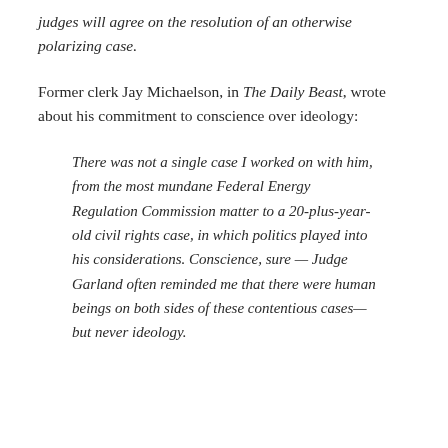judges will agree on the resolution of an otherwise polarizing case.
Former clerk Jay Michaelson, in The Daily Beast, wrote about his commitment to conscience over ideology:
There was not a single case I worked on with him, from the most mundane Federal Energy Regulation Commission matter to a 20-plus-year-old civil rights case, in which politics played into his considerations. Conscience, sure — Judge Garland often reminded me that there were human beings on both sides of these contentious cases—but never ideology.
...